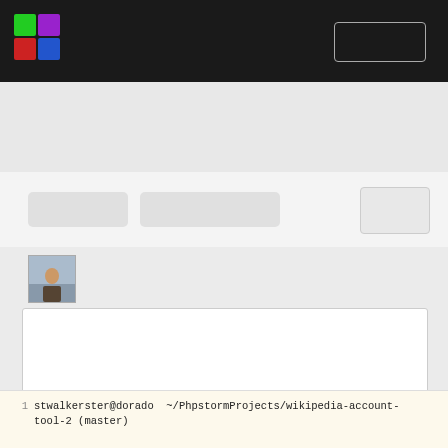[Figure (screenshot): Application navigation bar with colorful cube logo on the left and a button outline on the right, dark background]
[Figure (screenshot): Light gray search/filter area below nav bar]
[Figure (screenshot): Toolbar row with two gray pill buttons on left and a square button on right]
[Figure (photo): Small avatar/profile photo of a person outdoors]
[Figure (screenshot): White comment/text input box with a small button inside]
stwalkerster@dorado  ~/PhpstormProjects/wikipedia-account-tool-2 (master)